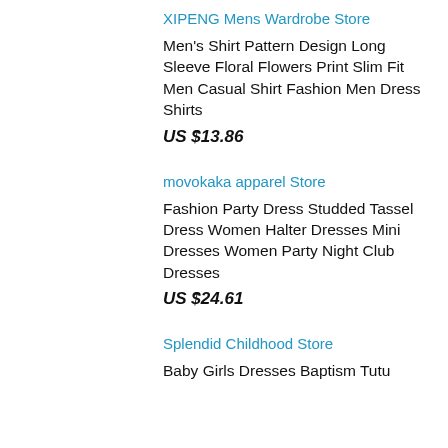XIPENG Mens Wardrobe Store
Men's Shirt Pattern Design Long Sleeve Floral Flowers Print Slim Fit Men Casual Shirt Fashion Men Dress Shirts
US $13.86
movokaka apparel Store
Fashion Party Dress Studded Tassel Dress Women Halter Dresses Mini Dresses Women Party Night Club Dresses
US $24.61
Splendid Childhood Store
Baby Girls Dresses Baptism Tutu